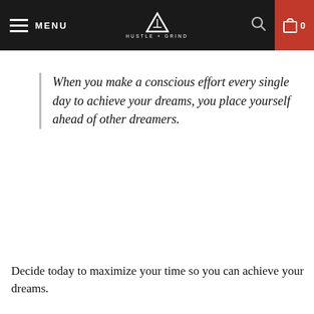MENU | HUSTLE + GRIND | 0
When you make a conscious effort every single day to achieve your dreams, you place yourself ahead of other dreamers.
Decide today to maximize your time so you can achieve your dreams.
If this post resonated with you, give it a share so others can find it.
[Figure (other): Broken image placeholder at the bottom of the page]